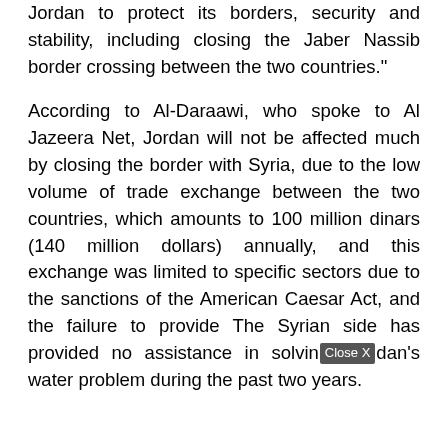Jordan to protect its borders, security and stability, including closing the Jaber Nassib border crossing between the two countries."
According to Al-Daraawi, who spoke to Al Jazeera Net, Jordan will not be affected much by closing the border with Syria, due to the low volume of trade exchange between the two countries, which amounts to 100 million dinars (140 million dollars) annually, and this exchange was limited to specific sectors due to the sanctions of the American Caesar Act, and the failure to provide The Syrian side has provided no assistance in solving Jordan's water problem during the past two years.